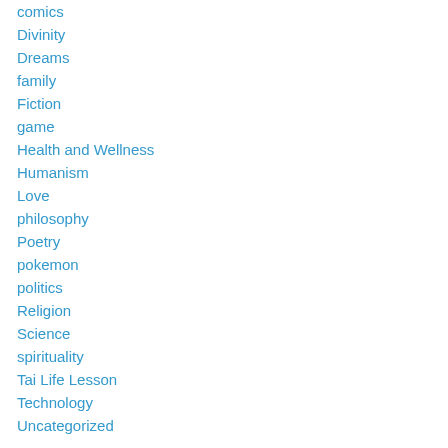comics
Divinity
Dreams
family
Fiction
game
Health and Wellness
Humanism
Love
philosophy
Poetry
pokemon
politics
Religion
Science
spirituality
Tai Life Lesson
Technology
Uncategorized